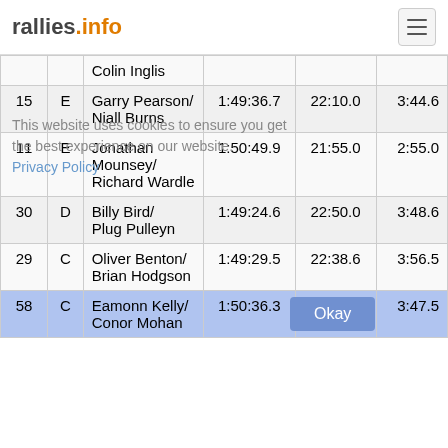rallies.info
| # | Cat | Name | Time | Gap | Stage |
| --- | --- | --- | --- | --- | --- |
|  |  | Colin Inglis |  |  |  |
| 15 | E | Garry Pearson/ Niall Burns | 1:49:36.7 | 22:10.0 | 3:44.6 |
| 11 | E | Jonathan Mounsey/ Richard Wardle | 1:50:49.9 | 21:55.0 | 2:55.0 |
| 30 | D | Billy Bird/ Plug Pulleyn | 1:49:24.6 | 22:50.0 | 3:48.6 |
| 29 | C | Oliver Benton/ Brian Hodgson | 1:49:29.5 | 22:38.6 | 3:56.5 |
| 58 | C | Eamonn Kelly/ Conor Mohan | 1:50:36.3 | 22:02.8 | 3:47.5 |
This website uses cookies to ensure you get the best experience on our website. Privacy Policy
Okay